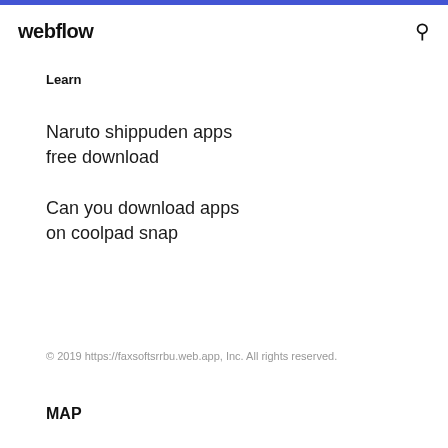webflow
Learn
Naruto shippuden apps free download
Can you download apps on coolpad snap
© 2019 https://faxsoftsrrbu.web.app, Inc. All rights reserved.
MAP